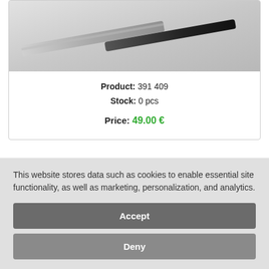[Figure (photo): Close-up photo of a fork/cutlery with silver tines and a black handle, set against a light gray background.]
Product: 391 409
Stock: 0 pcs
Price: 49.00 €
Soup Ladle, Scandia. Design, Kaj Franck, Hackman, Sorsakoski.
[Figure (photo): Dark gray/black background image area at bottom of second product card.]
This website stores data such as cookies to enable essential site functionality, as well as marketing, personalization, and analytics.
Accept
Deny